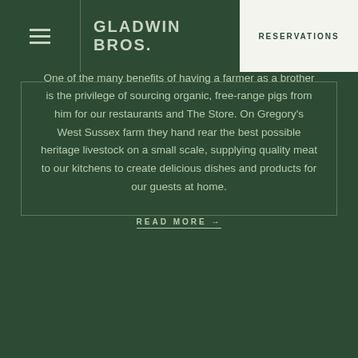GLADWIN BROS. | RESERVATIONS
One of the many benefits of having a farmer as a brother is the privilege of sourcing organic, free-range pigs from him for our restaurants and The Store. On Gregory's West Sussex farm they hand rear the best possible heritage livestock on a small scale, supplying quality meat to our kitchens to create delicious dishes and products for our guests at home.
READ MORE →